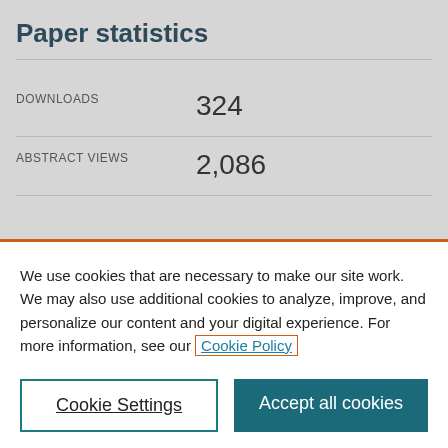Paper statistics
|  |  |
| --- | --- |
| DOWNLOADS | 324 |
| ABSTRACT VIEWS | 2,086 |
We use cookies that are necessary to make our site work. We may also use additional cookies to analyze, improve, and personalize our content and your digital experience. For more information, see our Cookie Policy
Cookie Settings
Accept all cookies